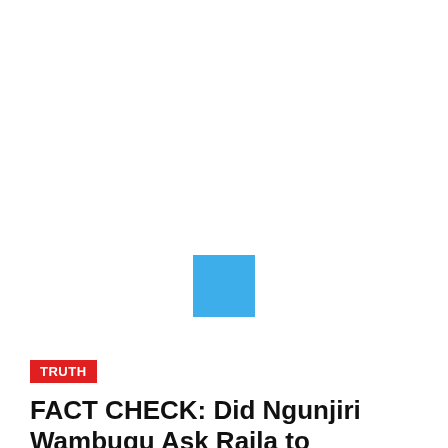[Figure (other): Loading placeholder with a blue square icon centered in a large white area, representing an image that has not loaded.]
TRUTH
FACT CHECK: Did Ngunjiri Wambugu Ask Raila to Concede